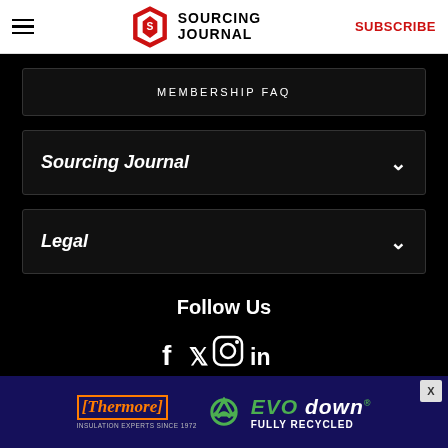Sourcing Journal — SUBSCRIBE
MEMBERSHIP FAQ
Sourcing Journal
Legal
Follow Us
[Figure (infographic): Social media icons: Facebook, Twitter, Instagram, LinkedIn]
[Figure (infographic): Thermore EVO down advertisement banner — Insulation Experts Since 1972, Fully Recycled]